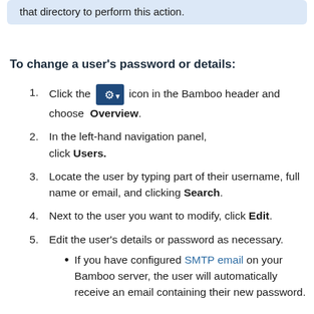that directory to perform this action.
To change a user's password or details:
Click the [gear icon] icon in the Bamboo header and choose Overview.
In the left-hand navigation panel, click Users.
Locate the user by typing part of their username, full name or email, and clicking Search.
Next to the user you want to modify, click Edit.
Edit the user's details or password as necessary.
If you have configured SMTP email on your Bamboo server, the user will automatically receive an email containing their new password.